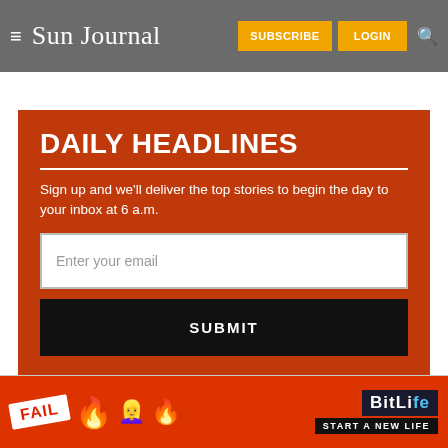≡ Sun Journal  SUBSCRIBE  LOGIN  🔍
DAILY HEADLINES
Sign up and we'll deliver the top stories to begin the day to your inbox at 6 a.m.
[Figure (screenshot): Email input field with placeholder text 'Enter your email' and a black SUBMIT button below]
[Figure (infographic): BitLife advertisement banner showing 'FAIL' label, animated character, flames, BitLife logo and 'START A NEW LIFE' slogan]